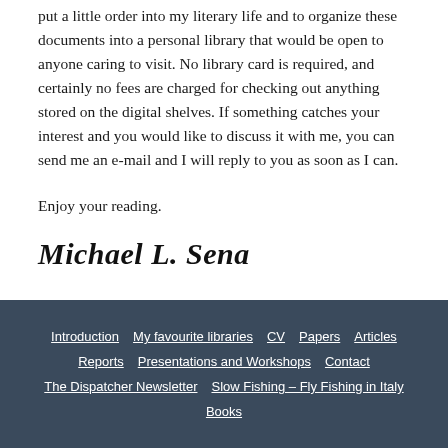put a little order into my literary life and to organize these documents into a personal library that would be open to anyone caring to visit. No library card is required, and certainly no fees are charged for checking out anything stored on the digital shelves. If something catches your interest and you would like to discuss it with me, you can send me an e-mail and I will reply to you as soon as I can.
Enjoy your reading.
Michael L. Sena
Introduction | My favourite libraries | CV | Papers | Articles | Reports | Presentations and Workshops | Contact | The Dispatcher Newsletter | Slow Fishing – Fly Fishing in Italy | Books